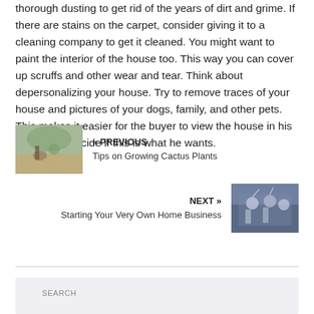thorough dusting to get rid of the years of dirt and grime. If there are stains on the carpet, consider giving it to a cleaning company to get it cleaned. You might want to paint the interior of the house too. This way you can cover up scruffs and other wear and tear. Think about depersonalizing your house. Try to remove traces of your house and pictures of your dogs, family, and other pets. This makes it easier for the buyer to view the house in his image and decide if this is what he wants.
[Figure (photo): Person crouching and planting in a garden outdoors]
« PREVIOUS
Tips on Growing Cactus Plants
NEXT »
Starting Your Very Own Home Business
[Figure (photo): Group of people celebrating with arms raised indoors]
SEARCH